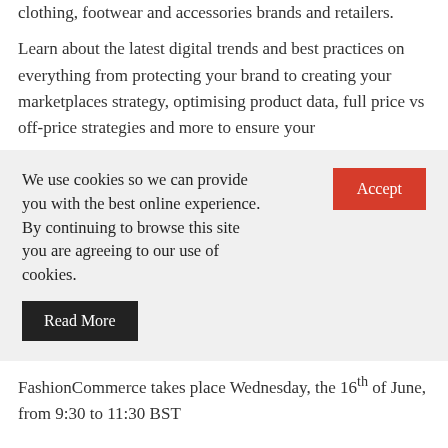clothing, footwear and accessories brands and retailers.
Learn about the latest digital trends and best practices on everything from protecting your brand to creating your marketplaces strategy, optimising product data, full price vs off-price strategies and more to ensure your
We use cookies so we can provide you with the best online experience. By continuing to browse this site you are agreeing to our use of cookies.
Read More
Accept
FashionCommerce takes place Wednesday, the 16th of June, from 9:30 to 11:30 BST
FashionCommerce Agenda
09:30 Welcome